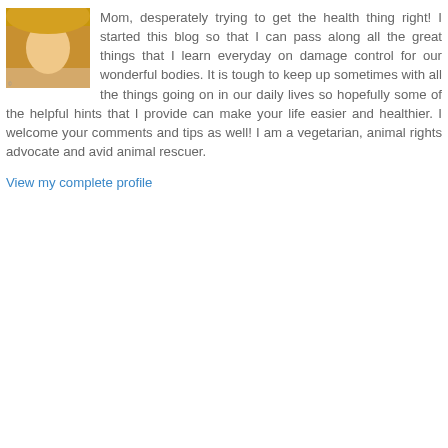[Figure (photo): Small profile photo of a blonde woman]
Mom, desperately trying to get the health thing right! I started this blog so that I can pass along all the great things that I learn everyday on damage control for our wonderful bodies. It is tough to keep up sometimes with all the things going on in our daily lives so hopefully some of the helpful hints that I provide can make your life easier and healthier. I welcome your comments and tips as well! I am a vegetarian, animal rights advocate and avid animal rescuer.
View my complete profile